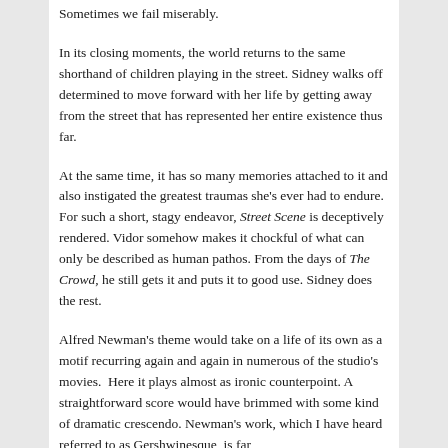Sometimes we fail miserably.
In its closing moments, the world returns to the same shorthand of children playing in the street. Sidney walks off determined to move forward with her life by getting away from the street that has represented her entire existence thus far.
At the same time, it has so many memories attached to it and also instigated the greatest traumas she's ever had to endure. For such a short, stagy endeavor, Street Scene is deceptively rendered. Vidor somehow makes it chockful of what can only be described as human pathos. From the days of The Crowd, he still gets it and puts it to good use. Sidney does the rest.
Alfred Newman's theme would take on a life of its own as a motif recurring again and again in numerous of the studio's movies.  Here it plays almost as ironic counterpoint. A straightforward score would have brimmed with some kind of dramatic crescendo. Newman's work, which I have heard referred to as Gershwinesque, is far